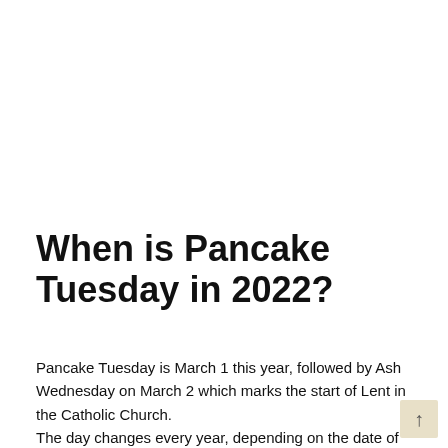When is Pancake Tuesday in 2022?
Pancake Tuesday is March 1 this year, followed by Ash Wednesday on March 2 which marks the start of Lent in the Catholic Church.
The day changes every year, depending on the date of Lent. Indeed, it always precedes Ash Wednesday, exactly six weeks before the start of the Easter celebrations.